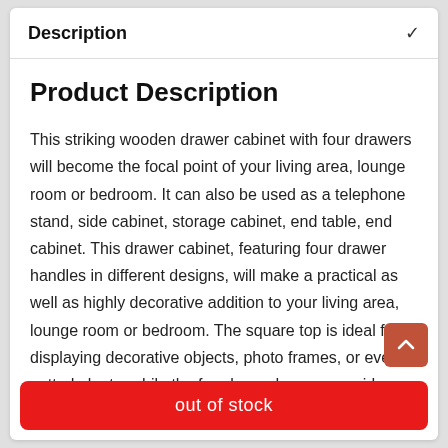Description
Product Description
This striking wooden drawer cabinet with four drawers will become the focal point of your living area, lounge room or bedroom. It can also be used as a telephone stand, side cabinet, storage cabinet, end table, end cabinet. This drawer cabinet, featuring four drawer handles in different designs, will make a practical as well as highly decorative addition to your living area, lounge room or bedroom. The square top is ideal for displaying decorative objects, photo frames, or even potted plants, while the four large drawers provide ample space for keeping all kinds of smaller items organised and within reach. Thanks to the high-quality solid wood material
out of stock